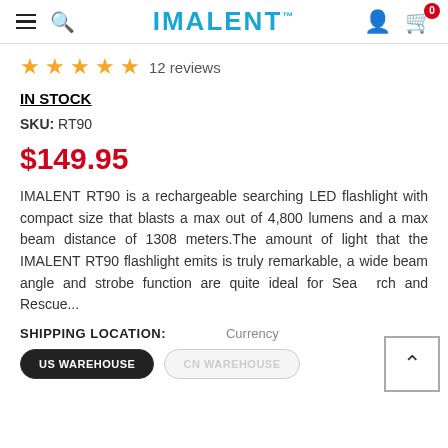IMALENT™ — navigation bar with hamburger menu, search icon, brand logo, user icon, cart (0)
★★★★★ 12 reviews
IN STOCK
SKU: RT90
$149.95
IMALENT RT90 is a rechargeable searching LED flashlight with compact size that blasts a max out of 4,800 lumens and a max beam distance of 1308 meters.The amount of light that the IMALENT RT90 flashlight emits is truly remarkable, a wide beam angle and strobe function are quite ideal for Search and Rescue...
SHIPPING LOCATION:  Currency
US WAREHOUSE  CN WAREHOUSE